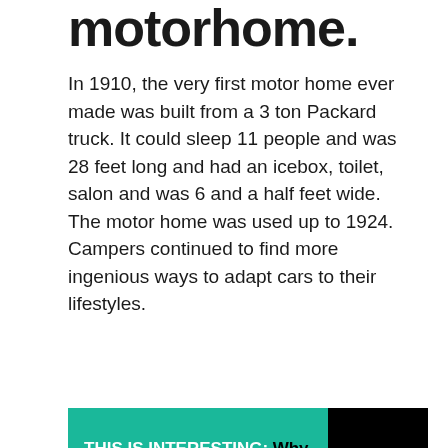motorhome.
In 1910, the very first motor home ever made was built from a 3 ton Packard truck. It could sleep 11 people and was 28 feet long and had an icebox, toilet, salon and was 6 and a half feet wide. The motor home was used up to 1924. Campers continued to find more ingenious ways to adapt cars to their lifestyles.
THIS IS INTERESTING: Why is my water not working in my camper?
Who invented camping?
The founder of modern recreational camping was Thomas Hiram Holding and...